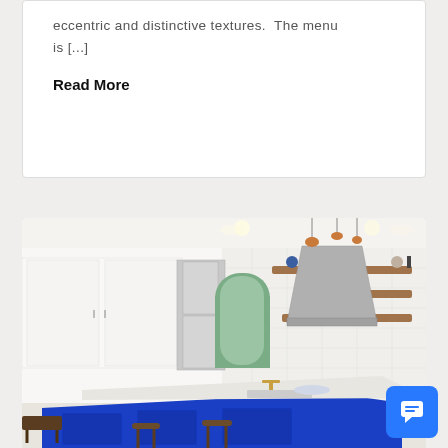eccentric and distinctive textures.  The menu is [...]
Read More
[Figure (photo): Modern kitchen with bright blue island, white subway tile backsplash, open wooden shelves, stainless steel range hood, hanging pendant lights, and arched window in background.]